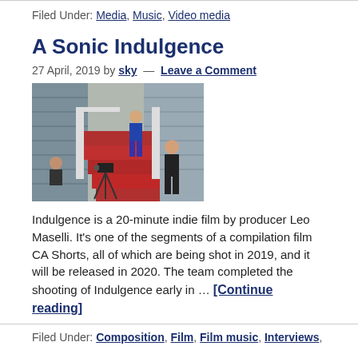Filed Under: Media, Music, Video media
A Sonic Indulgence
27 April, 2019 by sky — Leave a Comment
[Figure (photo): Film crew on location at a house with red stairs, three people visible including someone on the stairs and crew members with camera equipment]
Indulgence is a 20-minute indie film by producer Leo Maselli. It's one of the segments of a compilation film CA Shorts, all of which are being shot in 2019, and it will be released in 2020. The team completed the shooting of Indulgence early in … [Continue reading]
Filed Under: Composition, Film, Film music, Interviews,